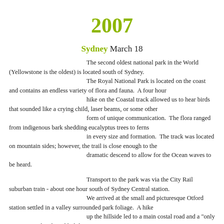2007
Sydney March 18
The second oldest national park in the World (Yellowstone is the oldest) is located south of Sydney. The Royal National Park is located on the coast and contains an endless variety of flora and fauna.  A four hour hike on the Coastal track allowed us to hear birds that sounded like a crying child, laser beams, or some other form of unique communication.  The flora ranged from indigenous bark shedding eucalyptus trees to ferns in every size and formation.  The track was located on mountain sides; however, the trail is close enough to the dramatic descend to allow for the Ocean waves to be heard.
Transport to the park was via the City Rail suburban train - about one hour south of Sydney Central station. We arrived at the small and picturesque Otford station settled in a valley surrounded park foliage.  A hike up the hillside led to a main costal road and a "only open on weekends and holidays" restaurant.  Our